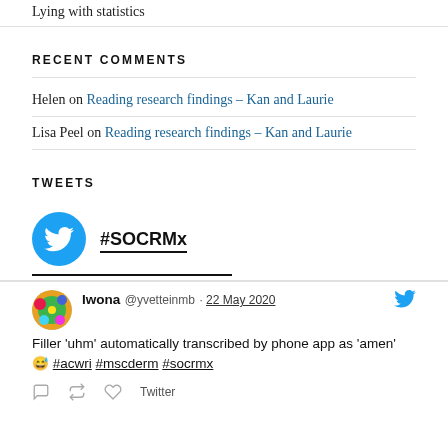Lying with statistics
RECENT COMMENTS
Helen on Reading research findings – Kan and Laurie
Lisa Peel on Reading research findings – Kan and Laurie
TWEETS
[Figure (logo): Twitter bird logo in blue circle next to #SOCRMx handle name]
Iwona @yvetteinmb · 22 May 2020
Filler 'uhm' automatically transcribed by phone app as 'amen' 😅 #acwri #mscderm #socrmx
Twitter